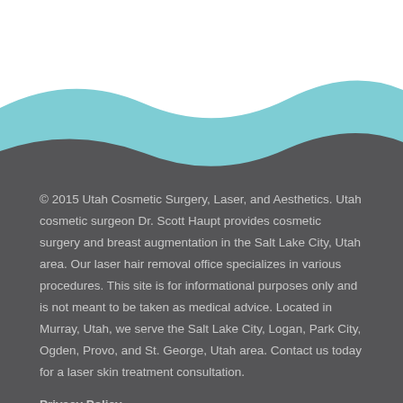[Figure (illustration): Decorative wave graphic with teal/turquoise color band over dark gray background]
© 2015 Utah Cosmetic Surgery, Laser, and Aesthetics. Utah cosmetic surgeon Dr. Scott Haupt provides cosmetic surgery and breast augmentation in the Salt Lake City, Utah area. Our laser hair removal office specializes in various procedures. This site is for informational purposes only and is not meant to be taken as medical advice. Located in Murray, Utah, we serve the Salt Lake City, Logan, Park City, Ogden, Provo, and St. George, Utah area. Contact us today for a laser skin treatment consultation.
Privacy Policy
*Every patient is different. Your individual results may vary